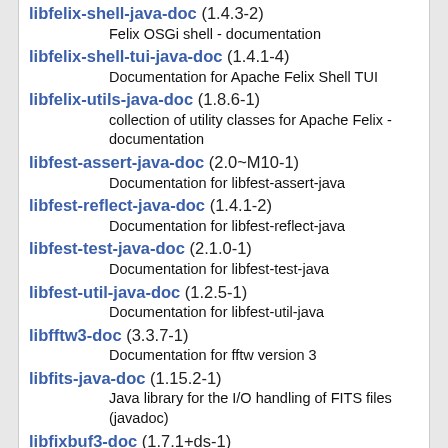libfelix-shell-java-doc (1.4.3-2)
    Felix OSGi shell - documentation
libfelix-shell-tui-java-doc (1.4.1-4)
    Documentation for Apache Felix Shell TUI
libfelix-utils-java-doc (1.8.6-1)
    collection of utility classes for Apache Felix - documentation
libfest-assert-java-doc (2.0~M10-1)
    Documentation for libfest-assert-java
libfest-reflect-java-doc (1.4.1-2)
    Documentation for libfest-reflect-java
libfest-test-java-doc (2.1.0-1)
    Documentation for libfest-test-java
libfest-util-java-doc (1.2.5-1)
    Documentation for libfest-util-java
libfftw3-doc (3.3.7-1)
    Documentation for fftw version 3
libfits-java-doc (1.15.2-1)
    Java library for the I/O handling of FITS files (javadoc)
libfixbuf3-doc (1.7.1+ds-1)
    Implementation of the IPFIX protocol - documentation
libfko-doc (2.6.9-2)
    FireWall KNock OPerator - documentation
libflac-doc (1.3.2-1)
    Free Lossless Audio Codec - library documentation